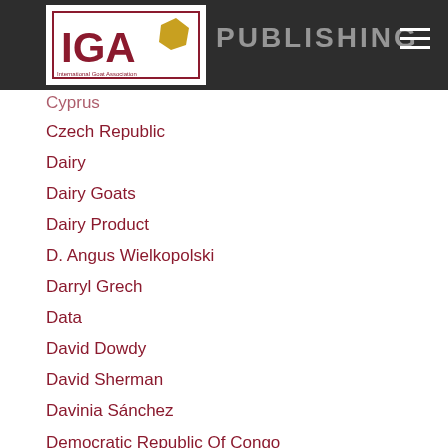IGA — PUBLISHING
Czech Republic
Dairy
Dairy Goats
Dairy Product
D. Angus Wielkopolski
Darryl Grech
Data
David Dowdy
David Sherman
Davinia Sánchez
Democratic Republic Of Congo
Developing Countries
Development
Development Projects
Deworm
Diagnostics
Dias...